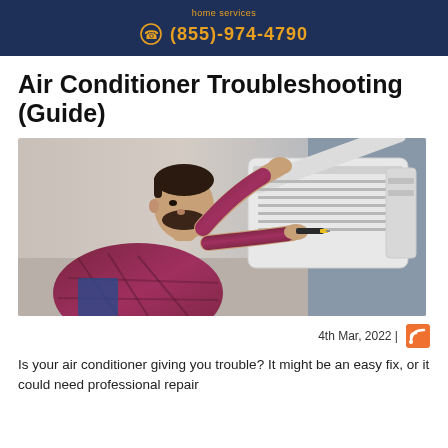home services
(855)-974-4790
Air Conditioner Troubleshooting (Guide)
[Figure (photo): A male technician in a plaid shirt inspecting and repairing a wall-mounted mini-split air conditioner unit with a screwdriver.]
4th Mar, 2022 |
Is your air conditioner giving you trouble? It might be an easy fix, or it could need professional repair